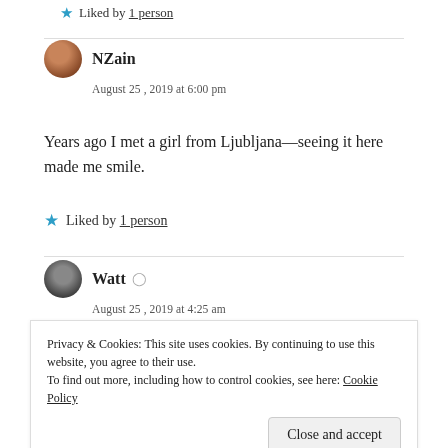Liked by 1 person
NZain
August 25, 2019 at 6:00 pm
Years ago I met a girl from Ljubljana—seeing it here made me smile.
Liked by 1 person
Watt
August 25, 2019 at 4:25 am
Privacy & Cookies: This site uses cookies. By continuing to use this website, you agree to their use.
To find out more, including how to control cookies, see here: Cookie Policy
Close and accept